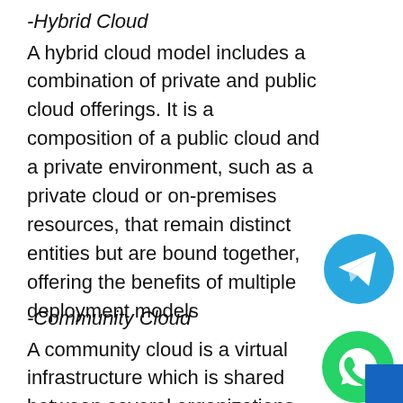-Hybrid Cloud
A hybrid cloud model includes a combination of private and public cloud offerings. It is a composition of a public cloud and a private environment, such as a private cloud or on-premises resources, that remain distinct entities but are bound together, offering the benefits of multiple deployment models
[Figure (logo): Telegram messenger icon — blue circle with white paper plane arrow]
-Community Cloud
A community cloud is a virtual infrastructure which is shared between several organizations
[Figure (logo): WhatsApp icon — green circle with white phone/chat bubble, overlapping blue rectangle in corner]